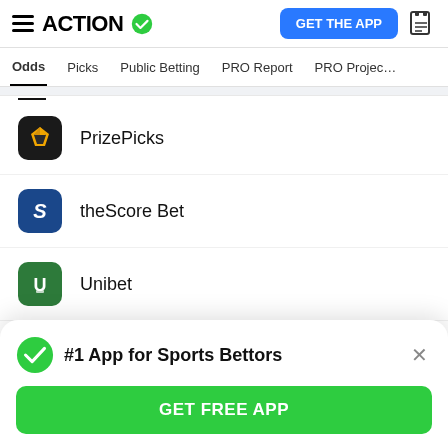ACTION — GET THE APP
Odds | Picks | Public Betting | PRO Report | PRO Project
PrizePicks
theScore Bet
Unibet
Betway
Sports Interaction
#1 App for Sports Bettors
GET FREE APP